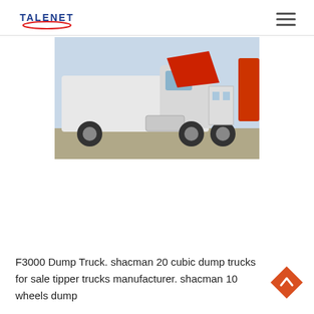TALENET
[Figure (photo): A white Shacman F3000 dump truck / tractor unit with red tilted cab photographed outdoors in a yard, showing 6-wheel configuration and aluminum fuel tank.]
F3000 Dump Truck. shacman 20 cubic dump trucks for sale tipper trucks manufacturer. shacman 10 wheels dump